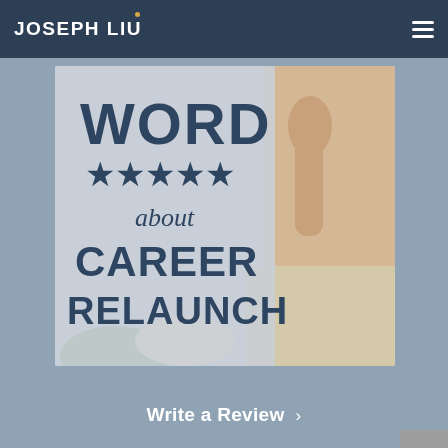JOSEPH LIU
[Figure (photo): Book cover styled image showing text 'WORD ★★★★★ about CAREER RELAUNCH' with a person holding finger to lips in background]
Write a Review ›
[Figure (photo): Partial view of a microphone against a blurred blue/teal background]